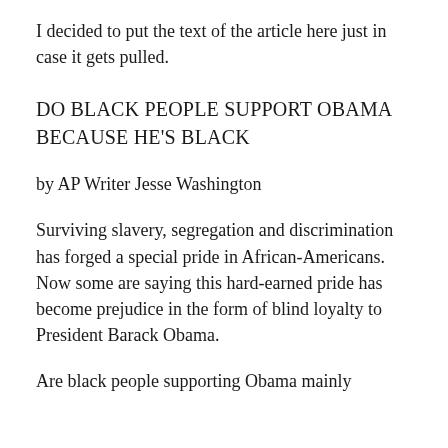I decided to put the text of the article here just in case it gets pulled.
DO BLACK PEOPLE SUPPORT OBAMA BECAUSE HE'S BLACK
by AP Writer Jesse Washington
Surviving slavery, segregation and discrimination has forged a special pride in African-Americans. Now some are saying this hard-earned pride has become prejudice in the form of blind loyalty to President Barack Obama.
Are black people supporting Obama mainly because he's black? After raising it from a snippet…